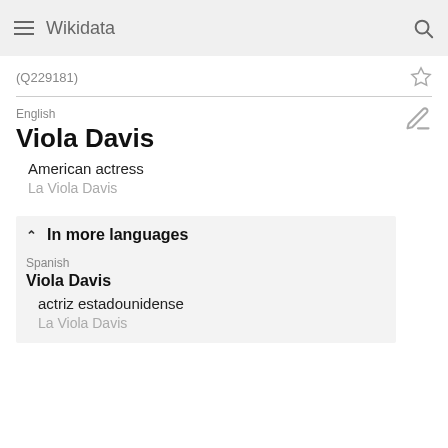Wikidata
(Q229181)
English
Viola Davis
American actress
La Viola Davis
In more languages
Spanish
Viola Davis
actriz estadounidense
La Viola Davis